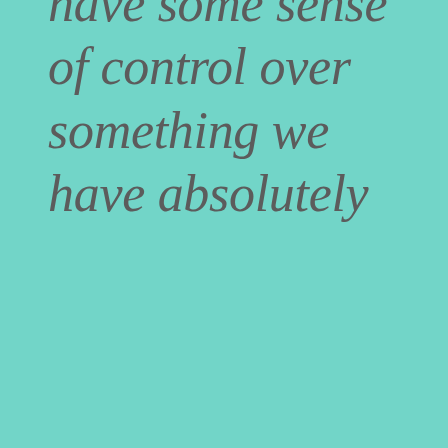have some sense of control over something we have absolutely